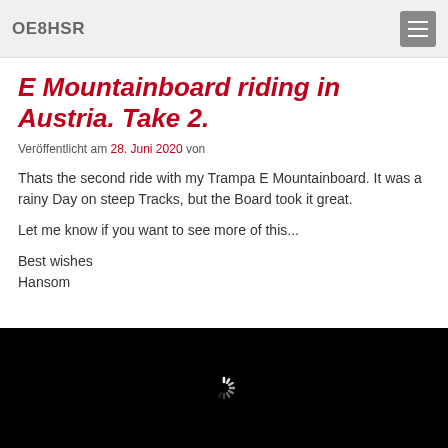OE8HSR
E Mountainboard riding in Austria. Take 2.
Veröffentlicht am 28. Juni 2020 von
Thats the second ride with my Trampa E Mountainboard. It was a rainy Day on steep Tracks, but the Board took it great.

Let me know if you want to see more of this...

Best wishes
Hansom
[Figure (other): Video player area with black background and loading spinner]